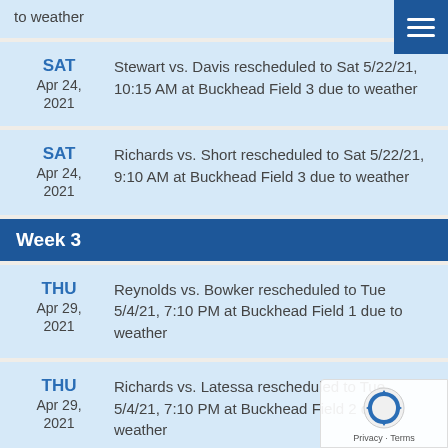to weather
SAT Apr 24, 2021 — Stewart vs. Davis rescheduled to Sat 5/22/21, 10:15 AM at Buckhead Field 3 due to weather
SAT Apr 24, 2021 — Richards vs. Short rescheduled to Sat 5/22/21, 9:10 AM at Buckhead Field 3 due to weather
Week 3
THU Apr 29, 2021 — Reynolds vs. Bowker rescheduled to Tue 5/4/21, 7:10 PM at Buckhead Field 1 due to weather
THU Apr 29, 2021 — Richards vs. Latessa rescheduled to Tue 5/4/21, 7:10 PM at Buckhead Field 2 due to weather